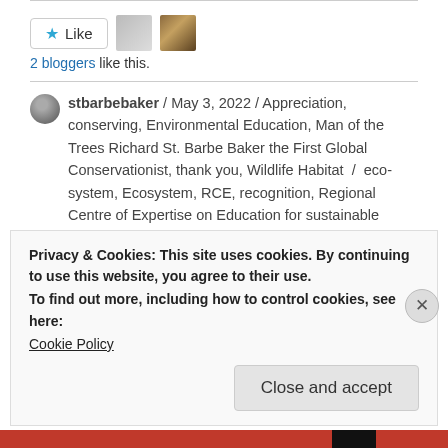[Figure (other): Like button with star icon and two avatar thumbnails]
2 bloggers like this.
stbarbebaker / May 3, 2022 / Appreciation, conserving, Environmental Education, Man of the Trees Richard St. Barbe Baker the First Global Conservationist, thank you, Wildlife Habitat / eco-system, Ecosystem, RCE, recognition, Regional Centre of Expertise on Education for sustainable development, Richard St. Barbe Baker AFforestation ARea, Saskatchewan, Saskatoon,
Privacy & Cookies: This site uses cookies. By continuing to use this website, you agree to their use.
To find out more, including how to control cookies, see here:
Cookie Policy
Close and accept